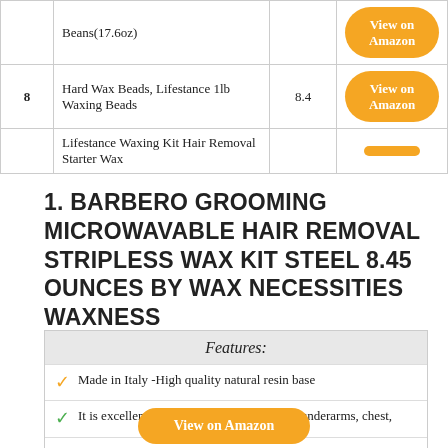| # | Product | Score | Link |
| --- | --- | --- | --- |
|  | Beans(17.6oz) |  | View on Amazon |
| 8 | Hard Wax Beads, Lifestance 1lb Waxing Beads | 8.4 | View on Amazon |
|  | Lifestance Waxing Kit Hair Removal Starter Wax |  |  |
1. BARBERO GROOMING MICROWAVABLE HAIR REMOVAL STRIPLESS WAX KIT STEEL 8.45 OUNCES BY WAX NECESSITIES WAXNESS
Features:
Made in Italy -High quality natural resin base
It is excellent for the removal of hair from underarms, chest,
It has an advanced flexible, formula with high adhesion to the
After the treatment, hair regrowth will be slower, finer, and
Kit contains: – Wax Container 8.45 oz. / 250 ml – 2 Wooden